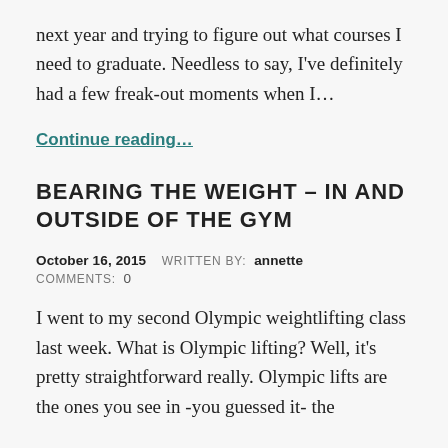next year and trying to figure out what courses I need to graduate. Needless to say, I've definitely had a few freak-out moments when I…
Continue reading…
BEARING THE WEIGHT – IN AND OUTSIDE OF THE GYM
October 16, 2015   WRITTEN BY:  annette   COMMENTS:  0
I went to my second Olympic weightlifting class last week. What is Olympic lifting? Well, it's pretty straightforward really. Olympic lifts are the ones you see in -you guessed it- the